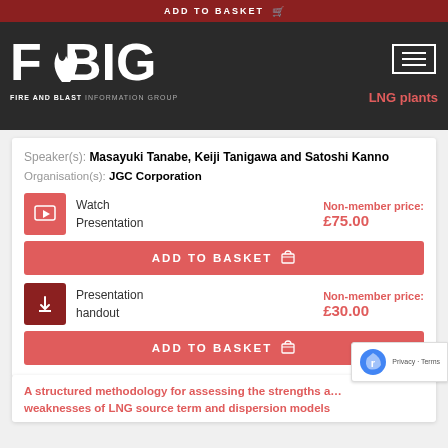[Figure (logo): FOBIG - Fire and Blast Information Group logo with flame icon, on dark background]
LNG plants
Speaker(s): Masayuki Tanabe, Keiji Tanigawa and Satoshi Kanno
Organisation(s): JGC Corporation
Watch Presentation — Non-member price: £75.00
ADD TO BASKET
Presentation handout — Non-member price: £30.00
ADD TO BASKET
A structured methodology for assessing the strengths and weaknesses of LNG source term and dispersion models